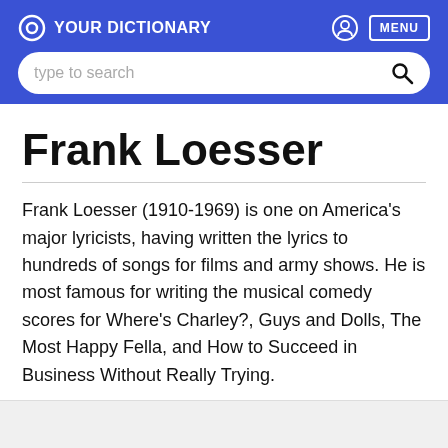YOUR DICTIONARY
Frank Loesser
Frank Loesser (1910-1969) is one on America's major lyricists, having written the lyrics to hundreds of songs for films and army shows. He is most famous for writing the musical comedy scores for Where's Charley?, Guys and Dolls, The Most Happy Fella, and How to Succeed in Business Without Really Trying.